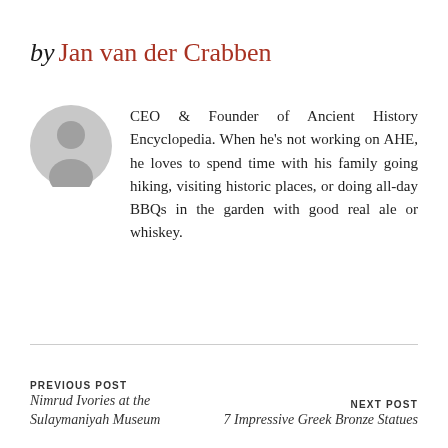by Jan van der Crabben
[Figure (illustration): Gray circular avatar/profile placeholder icon showing a silhouette of a person]
CEO & Founder of Ancient History Encyclopedia. When he's not working on AHE, he loves to spend time with his family going hiking, visiting historic places, or doing all-day BBQs in the garden with good real ale or whiskey.
PREVIOUS POST
Nimrud Ivories at the Sulaymaniyah Museum
NEXT POST
7 Impressive Greek Bronze Statues